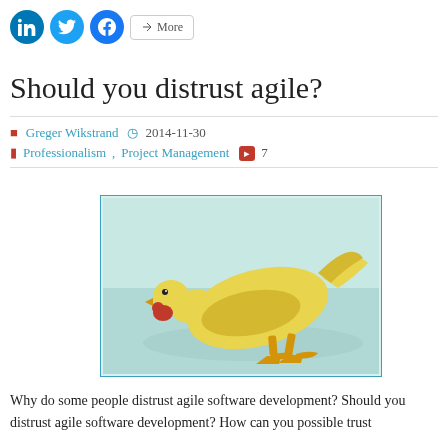[Figure (other): Social media sharing buttons: LinkedIn (blue circle), Twitter (blue circle), Facebook (blue circle), and a 'More' button]
Should you distrust agile?
Greger Wikstrand  2014-11-30
Professionalism, Project Management  7
[Figure (photo): Photo of a yellow rubber chicken toy lying flat, with red comb and beak, on a light teal/mint background]
Why do some people distrust agile software development? Should you distrust agile software development? How can you possible trust